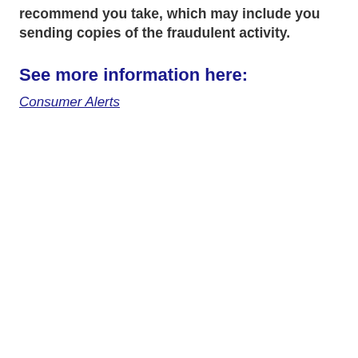recommend you take, which may include you sending copies of the fraudulent activity.
See more information here:
Consumer Alerts